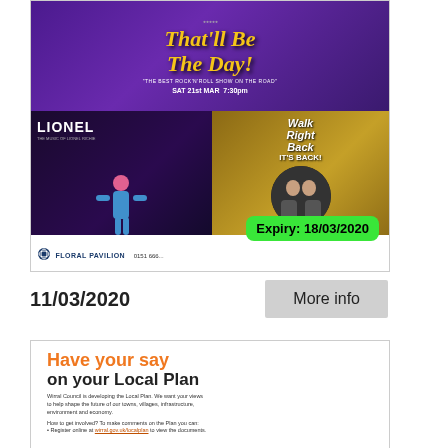[Figure (photo): Floral Pavilion theatre advertisement showing 'That'll Be The Day' show on SAT 21st MAR 7:30pm, 'LIONEL - The Music of Lionel Richie' on FRI 10th APR 7:30pm, and 'Walk Right Back - It's Back!' show. Green expiry badge reading 'Expiry: 18/03/2020'. Floral Pavilion branding and 0151 666... phone number at bottom.]
11/03/2020
More info
[Figure (photo): Wirral Council advertisement: 'Have your say on your Local Plan'. Text reads: 'Wirral Council is developing the Local Plan. We want your views to help shape the future of our towns, villages, infrastructure, environment and economy. How to get involved? To make comments on the Plan you can: Register online at wirral.gov.uk/localplan to view the documents.']